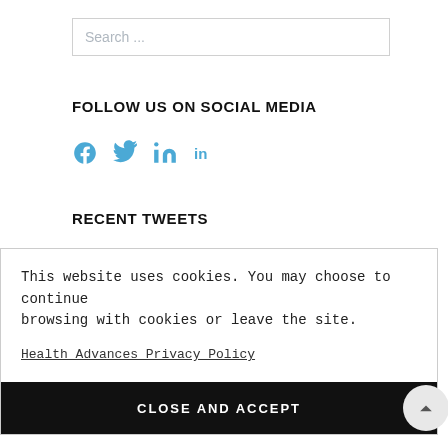Search ...
FOLLOW US ON SOCIAL MEDIA
[Figure (infographic): Social media icons: Facebook, Twitter, LinkedIn in blue]
RECENT TWEETS
This website uses cookies. You may choose to continue browsing with cookies or leave the site.
Health Advances Privacy Policy
CLOSE AND ACCEPT